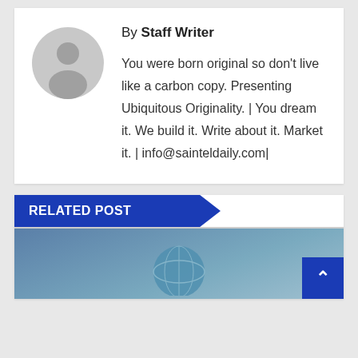By Staff Writer
You were born original so don't live like a carbon copy. Presenting Ubiquitous Originality. | You dream it. We build it. Write about it. Market it. | info@sainteldaily.com|
RELATED POST
[Figure (photo): Partial view of a photo showing a globe/brain image on a dark blue background, partially visible at bottom of page]